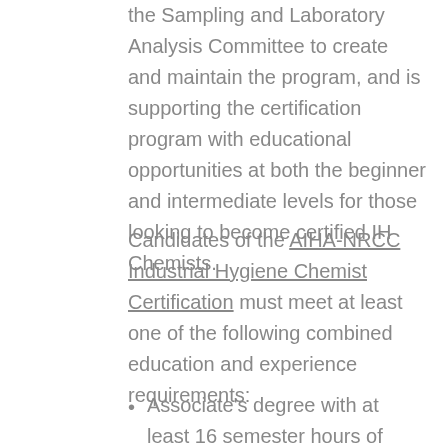the Sampling and Laboratory Analysis Committee to create and maintain the program, and is supporting the certification program with educational opportunities at both the beginner and intermediate levels for those looking to become certified IH Chemists.
Candidates of the AIHA-NRCC Industrial Hygiene Chemist Certification must meet at least one of the following combined education and experience requirements:
Associate's degree with at least 16 semester hours of chemistry or other natural science courses from an